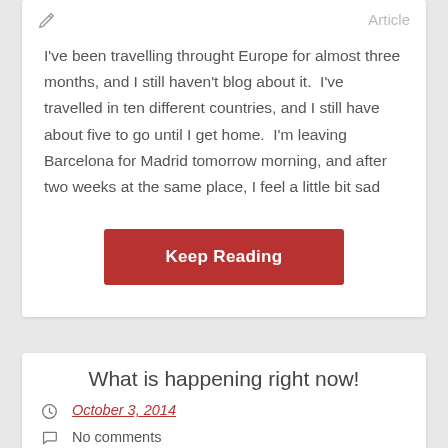Article
I've been travelling throught Europe for almost three months, and I still haven't blog about it.  I've travelled in ten different countries, and I still have about five to go until I get home.  I'm leaving Barcelona for Madrid tomorrow morning, and after two weeks at the same place, I feel a little bit sad
Keep Reading
What is happening right now!
October 3, 2014
No comments
Article